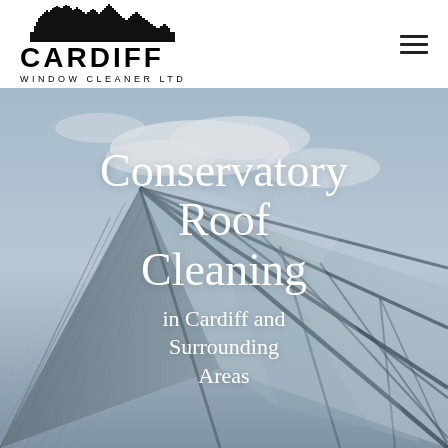[Figure (logo): Cardiff Window Cleaner Ltd logo with city skyline silhouette above bold 'CARDIFF' text and 'WINDOW CLEANER LTD' subtitle]
[Figure (photo): Background photo of a glass conservatory roof with angular steel frame panels against a partly cloudy sky, aerial/low-angle perspective]
Conservatory Roof Cleaning
in Cardiff and Surrounding Areas